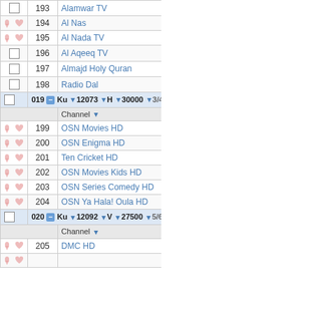|  | # | Channel | T | Encryption | Pa |
| --- | --- | --- | --- | --- | --- |
| [checkbox] | 193 | Alamwar TV | TV | FTA |  |
| [icons] | 194 | Al Nas | TV | FTA |  |
| [icons] | 195 | Al Nada TV | TV | FTA |  |
| [checkbox] | 196 | Al Aqeeq TV | TV | FTA |  |
| [checkbox] | 197 | Almajd Holy Quran | TV | FTA |  |
| [checkbox] | 198 | Radio Dal | R | FTA |  |
| 019 - Ku 12073 H 30000 3/4 | transponder header |  |  |  |  |
|  | Channel | T | Encryption | Pa |  |
| [icons] | 199 | OSN Movies HD | TV | Betacrypt |  |
| [icons] | 200 | OSN Enigma HD | TV | Betacrypt |  |
| [icons] | 201 | Ten Cricket HD | TV | Betacrypt |  |
| [icons] | 202 | OSN Movies Kids HD | TV | Betacrypt |  |
| [icons] | 203 | OSN Series Comedy HD | TV | Betacrypt |  |
| [icons] | 204 | OSN Ya Hala! Oula HD | TV | Betacrypt |  |
| 020 - Ku 12092 V 27500 5/6 | transponder header |  |  |  |  |
|  | Channel | T | Encryption | Pa |  |
| [icons] | 205 | DMC HD | TV | FTA |  |